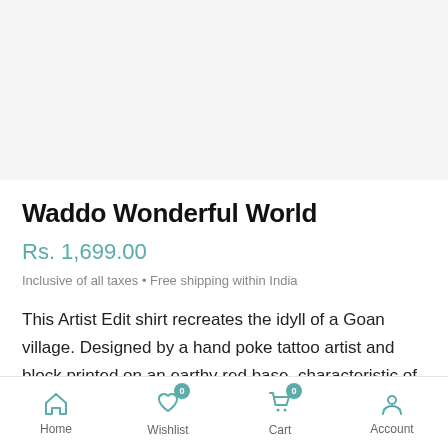[Figure (photo): Product image area (white/light grey placeholder)]
Waddo Wonderful World
Rs. 1,699.00
Inclusive of all taxes • Free shipping within India
This Artist Edit shirt recreates the idyll of a Goan village. Designed by a hand poke tattoo artist and block printed on an earthy red base, characteristic of the local soil, this one
Home   Wishlist 0   Cart 0   Account